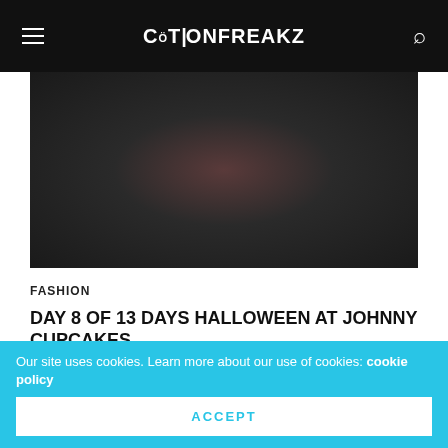COTTONFREAKZ
[Figure (photo): Dark blurred hero image, mostly black with a faint reddish-brown shape in the center]
FASHION
DAY 8 OF 13 DAYS HALLOWEEN AT JOHNNY CUPCAKES
13 Days of Halloween! last week we had day 1 , day 2 , day 3,  Day 4, 5, 6 in one Today's new features day 8 makes you beware of the cupcake slayer tee. Check it out below
Our site uses cookies. Learn more about our use of cookies: cookie policy
ACCEPT